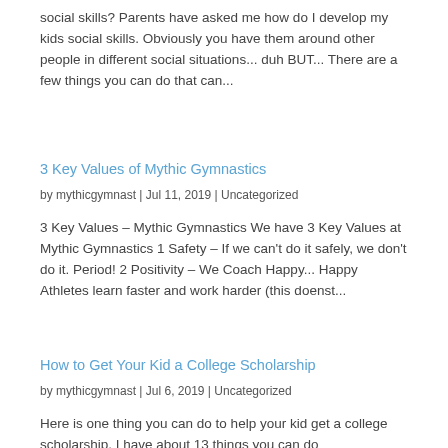social skills? Parents have asked me how do I develop my kids social skills. Obviously you have them around other people in different social situations... duh BUT... There are a few things you can do that can...
3 Key Values of Mythic Gymnastics
by mythicgymnast  |  Jul 11, 2019  |  Uncategorized
3 Key Values – Mythic Gymnastics We have 3 Key Values at Mythic Gymnastics 1 Safety – If we can't do it safely, we don't do it. Period! 2 Positivity – We Coach Happy... Happy Athletes learn faster and work harder (this doenst...
How to Get Your Kid a College Scholarship
by mythicgymnast  |  Jul 6, 2019  |  Uncategorized
Here is one thing you can do to help your kid get a college scholarship. I have about 13 things you can do